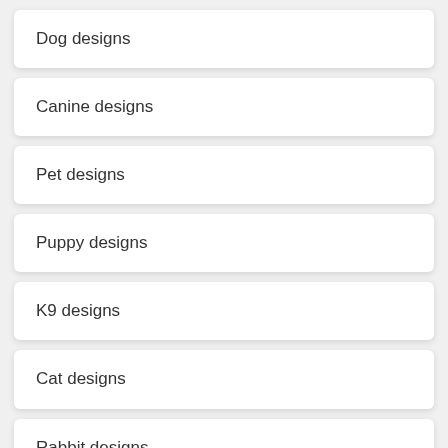Dog designs
Canine designs
Pet designs
Puppy designs
K9 designs
Cat designs
Rabbit designs